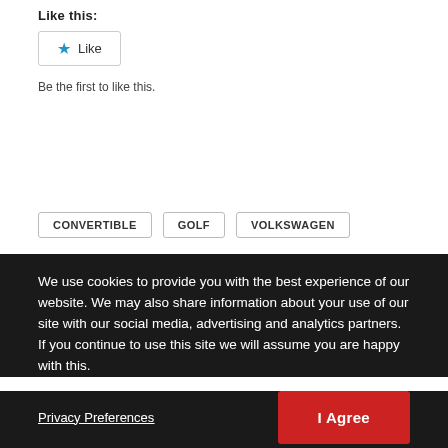Like this:
[Figure (other): Like button widget with a blue star icon and 'Like' text inside a bordered box]
Be the first to like this.
CONVERTIBLE
GOLF
VOLKSWAGEN
We use cookies to provide you with the best experience of our website. We may also share information about your use of our site with our social media, advertising and analytics partners. If you continue to use this site we will assume you are happy with this.
Privacy Preferences
I Agree